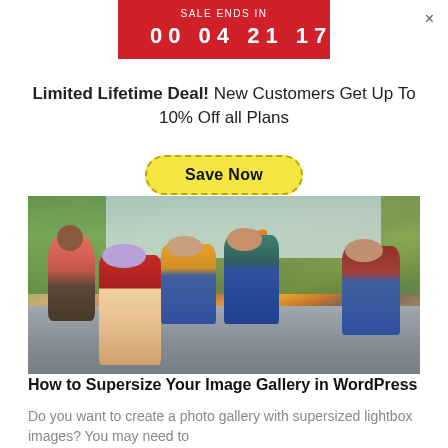SALE ENDS IN 00 04 21 17
Limited Lifetime Deal! New Customers Get Up To 10% Off all Plans
Save Now
[Figure (photo): Group of five college students sitting on outdoor steps, studying and socializing together]
How to Supersize Your Image Gallery in WordPress
Do you want to create a photo gallery with supersized lightbox images? You may need to